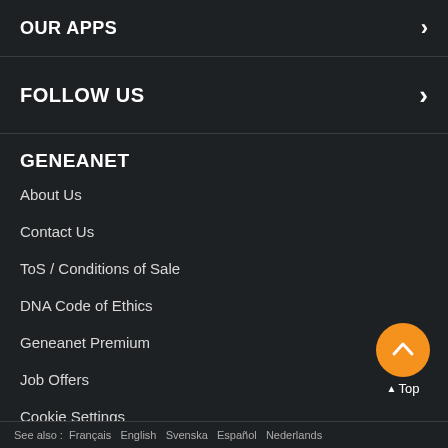OUR APPS
FOLLOW US
GENEANET
About Us
Contact Us
ToS / Conditions of Sale
DNA Code of Ethics
Geneanet Premium
Job Offers
Cookie Settings
Privacy Policy
See also : Français  English  Svenska  Español  Nederlands